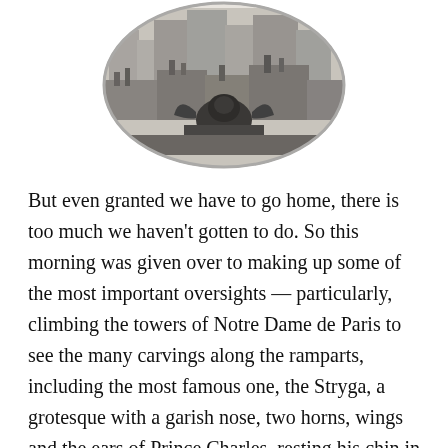[Figure (illustration): A circular black-and-white etching or engraving depicting a rooftop cityscape of Paris, with buildings and architectural details visible inside the circular frame.]
But even granted we have to go home, there is too much we haven’t gotten to do. So this morning was given over to making up some of the most important oversights — particularly, climbing the towers of Notre Dame de Paris to see the many carvings along the ramparts, including the most famous one, the Stryga, a grotesque with a garish nose, two horns, wings and the ears of Prince Charles, resting his chin in his hands looking out over Paris below him. He is a kind of ensignia for the cathedral, most famously in a 19th century photograph by Charles Negre, and an etching by Charles Meryon. If anything is the